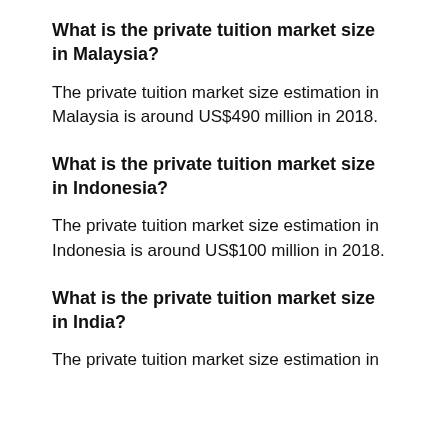What is the private tuition market size in Malaysia?
The private tuition market size estimation in Malaysia is around US$490 million in 2018.
What is the private tuition market size in Indonesia?
The private tuition market size estimation in Indonesia is around US$100 million in 2018.
What is the private tuition market size in India?
The private tuition market size estimation in